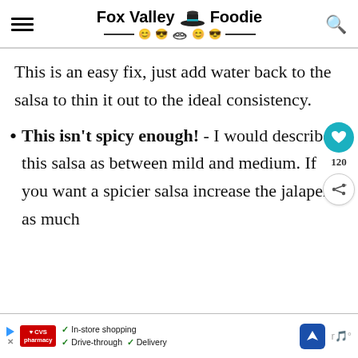Fox Valley Foodie
This is an easy fix, just add water back to the salsa to thin it out to the ideal consistency.
This isn't spicy enough! - I would describe this salsa as between mild and medium. If you want a spicier salsa increase the jalapeno as much
[Figure (other): CVS Pharmacy advertisement banner with in-store shopping, drive-through, and delivery options]
In-store shopping  Drive-through  Delivery